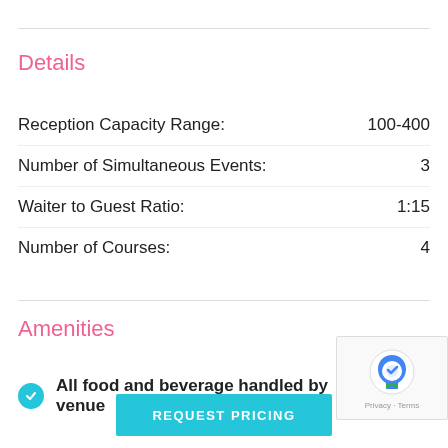Details
| Label | Value |
| --- | --- |
| Reception Capacity Range: | 100-400 |
| Number of Simultaneous Events: | 3 |
| Waiter to Guest Ratio: | 1:15 |
| Number of Courses: | 4 |
Amenities
All food and beverage handled by venue